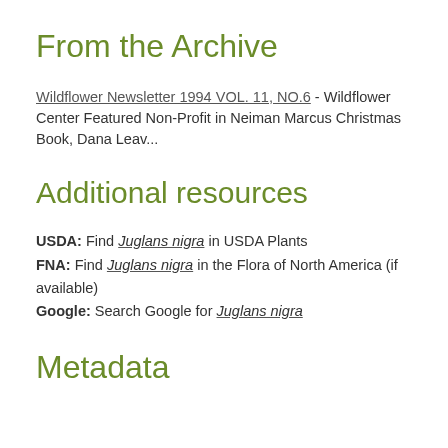From the Archive
Wildflower Newsletter 1994 VOL. 11, NO.6 - Wildflower Center Featured Non-Profit in Neiman Marcus Christmas Book, Dana Leav...
Additional resources
USDA: Find Juglans nigra in USDA Plants
FNA: Find Juglans nigra in the Flora of North America (if available)
Google: Search Google for Juglans nigra
Metadata